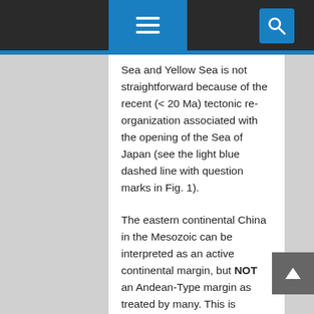Sea and Yellow Sea is not straightforward because of the recent (< 20 Ma) tectonic re-organization associated with the opening of the Sea of Japan (see the light blue dashed line with question marks in Fig. 1).
The eastern continental China in the Mesozoic can be interpreted as an active continental margin, but NOT an Andean-Type margin as treated by many. This is because the granitoids do not define "magmatic arcs" at any given time, but distribute randomly in space and time in a wide zone in